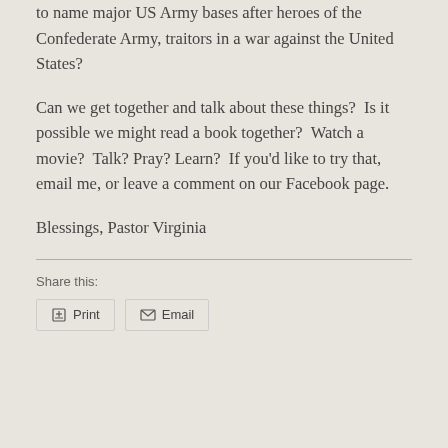to name major US Army bases after heroes of the Confederate Army, traitors in a war against the United States?
Can we get together and talk about these things?  Is it possible we might read a book together?  Watch a movie?  Talk? Pray? Learn?  If you'd like to try that, email me, or leave a comment on our Facebook page.
Blessings, Pastor Virginia
Share this:
Print   Email